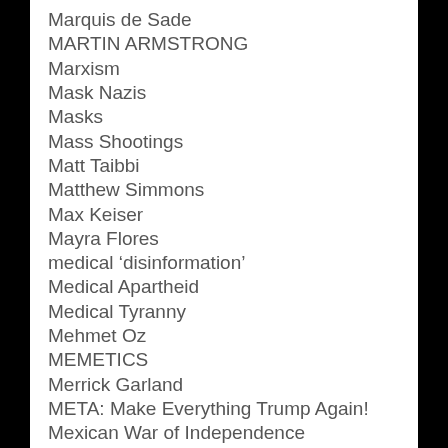Marquis de Sade
MARTIN ARMSTRONG
Marxism
Mask Nazis
Masks
Mass Shootings
Matt Taibbi
Matthew Simmons
Max Keiser
Mayra Flores
medical 'disinformation'
Medical Apartheid
Medical Tyranny
Mehmet Oz
MEMETICS
Merrick Garland
META: Make Everything Trump Again!
Mexican War of Independence
Mexico City
Michael Cassidy